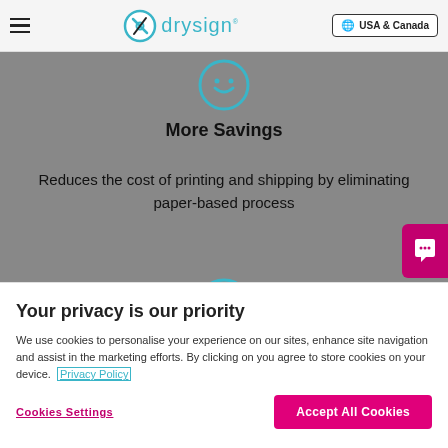drysign — USA & Canada
More Savings
Reduces the cost of printing and shipping by eliminating paper-based process
[Figure (illustration): Circular teal icon with a network/hierarchy diagram inside]
Your privacy is our priority
We use cookies to personalise your experience on our sites, enhance site navigation and assist in the marketing efforts. By clicking on you agree to store cookies on your device. Privacy Policy
Cookies Settings
Accept All Cookies